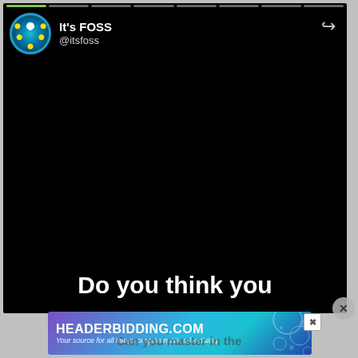[Figure (screenshot): Social media video player screenshot showing It's FOSS (@itsfoss) account with a black video frame. Progress bar segments at top, avatar with teal/gear icon, share icon top right. Caption text 'Do you think you' at bottom of video area. Close button (X) bottom right of card.]
[Figure (screenshot): Advertisement banner for HEADERBIDDING.COM with text 'Your source for all things programmatic advertising.' on a gradient purple-to-teal background. Close X button top right of ad. Partially visible text below.]